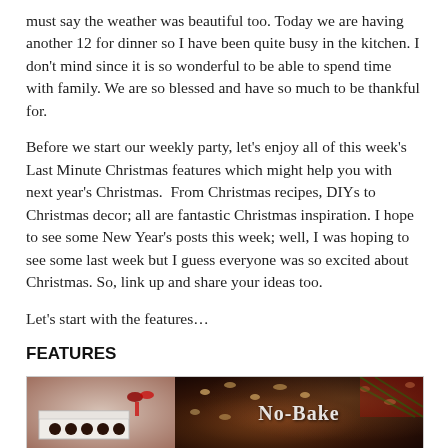must say the weather was beautiful too. Today we are having another 12 for dinner so I have been quite busy in the kitchen. I don't mind since it is so wonderful to be able to spend time with family. We are so blessed and have so much to be thankful for.
Before we start our weekly party, let's enjoy all of this week's Last Minute Christmas features which might help you with next year's Christmas.  From Christmas recipes, DIYs to Christmas decor; all are fantastic Christmas inspiration. I hope to see some New Year's posts this week; well, I was hoping to see some last week but I guess everyone was so excited about Christmas. So, link up and share your ideas too.
Let's start with the features…
FEATURES
[Figure (photo): Two food photos side by side: left shows chocolate truffles or bonbons in a white box with red accents; right shows a No-Bake dessert dish with nuts on top, with plaid fabric and holiday decorations in background. Text overlay reads 'No-Bake' in white.]